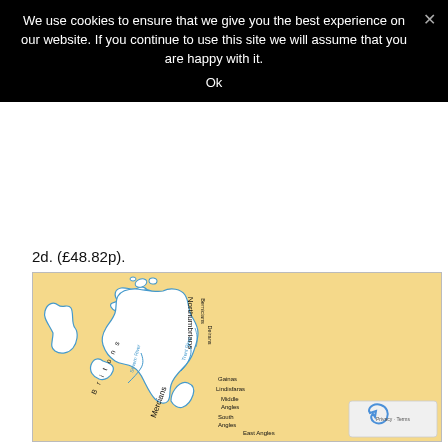We use cookies to ensure that we give you the best experience on our website. If you continue to use this site we will assume that you are happy with it.
Ok
2d. (£48.82p).
[Figure (map): Historical map of Britain showing Anglo-Saxon kingdoms including Northumbrians, Bernicians, Mercians, Middle Angles, South Angles, East Angles, Gainas, Lindisfaras, Deirans, with river labels including Severn River and Trent River. The map shows Britain and Ireland with blue coastlines and river outlines on a tan/yellow background. Text 'Britons' runs diagonally across Wales area.]